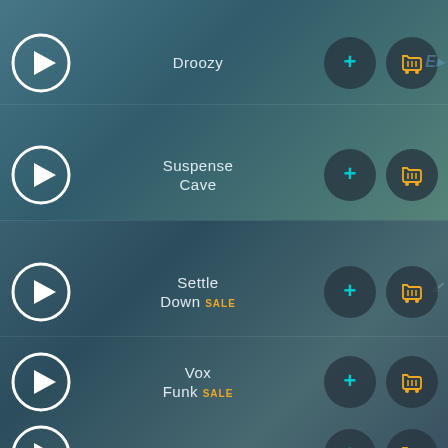Droozy
Suspense Cave
Settle Down SALE
Vox Funk SALE
Rawest SALE